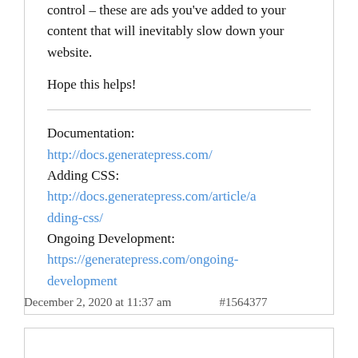control – these are ads you've added to your content that will inevitably slow down your website.
Hope this helps!
Documentation:
http://docs.generatepress.com/
Adding CSS:
http://docs.generatepress.com/article/adding-css/
Ongoing Development:
https://generatepress.com/ongoing-development
December 2, 2020 at 11:37 am    #1564377